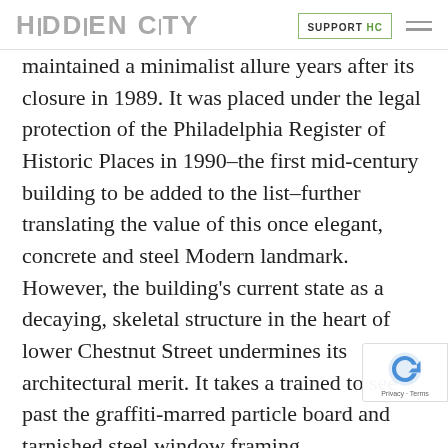HIDDEN CITY | SUPPORT HC
maintained a minimalist allure years after its closure in 1989. It was placed under the legal protection of the Philadelphia Register of Historic Places in 1990–the first mid-century building to be added to the list–further translating the value of this once elegant, concrete and steel Modern landmark. However, the building's current state as a decaying, skeletal structure in the heart of lower Chestnut Street undermines its architectural merit. It takes a trained to see past the graffiti-marred particle board and tarnished steel window framing